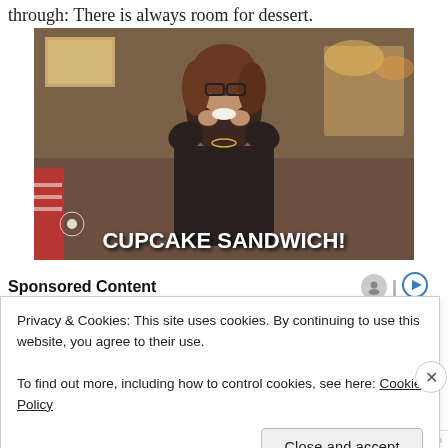through: There is always room for dessert.
[Figure (photo): A woman wearing glasses and a dark jacket eating something small, with text overlay 'CUPCAKE SANDWICH!' in bold white capital letters. NBC logo visible at bottom left of image.]
Sponsored Content
Privacy & Cookies: This site uses cookies. By continuing to use this website, you agree to their use.
To find out more, including how to control cookies, see here: Cookie Policy
Close and accept